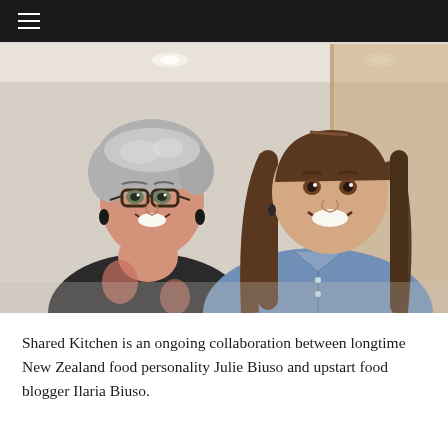≡
[Figure (photo): Two women smiling together indoors. On the left, an older woman with short gray hair wearing glasses and a black patterned top. On the right, a younger woman with long brown hair wearing a denim shirt. Light background with recessed ceiling lights visible.]
Shared Kitchen is an ongoing collaboration between longtime New Zealand food personality Julie Biuso and upstart food blogger Ilaria Biuso.